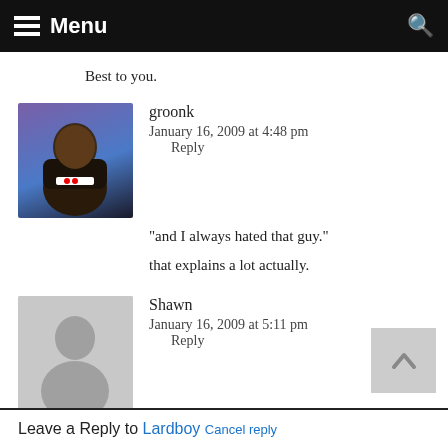Menu
Best to you.
groonk
January 16, 2009 at 4:48 pm
    Reply

"and I always hated that guy."

that explains a lot actually.
Shawn
January 16, 2009 at 5:11 pm
    Reply

Kinda reminds me of that Mind Flex controller that some guy made for gaming.
Leave a Reply to Lardboy Cancel reply